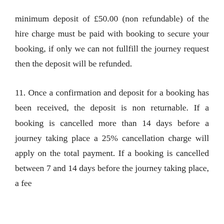minimum deposit of £50.00 (non refundable) of the hire charge must be paid with booking to secure your booking, if only we can not fullfill the journey request then the deposit will be refunded.
11. Once a confirmation and deposit for a booking has been received, the deposit is non returnable. If a booking is cancelled more than 14 days before a journey taking place a 25% cancellation charge will apply on the total payment. If a booking is cancelled between 7 and 14 days before the journey taking place, a fee